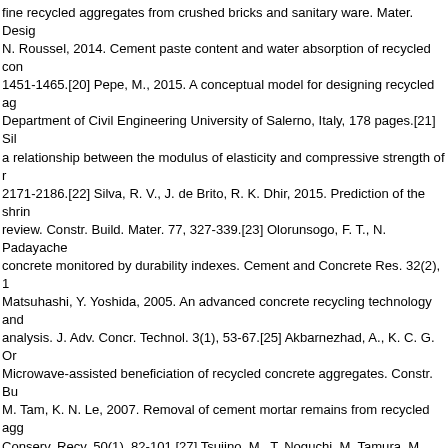fine recycled aggregates from crushed bricks and sanitary ware. Mater. Design N. Roussel, 2014. Cement paste content and water absorption of recycled con 1451-1465.[20] Pepe, M., 2015. A conceptual model for designing recycled ag Department of Civil Engineering University of Salerno, Italy, 178 pages.[21] Sil a relationship between the modulus of elasticity and compressive strength of r 2171-2186.[22] Silva, R. V., J. de Brito, R. K. Dhir, 2015. Prediction of the shrin review. Constr. Build. Mater. 77, 327-339.[23] Olorunsogo, F. T., N. Padayache concrete monitored by durability indexes. Cement and Concrete Res. 32(2), 1 Matsuhashi, Y. Yoshida, 2005. An advanced concrete recycling technology and analysis. J. Adv. Concr. Technol. 3(1), 53-67.[25] Akbarnezhad, A., K. C. G. Or Microwave-assisted beneficiation of recycled concrete aggregates. Constr. Bu M. Tam, K. N. Le, 2007. Removal of cement mortar remains from recycled agg Conserv. Recy. 50(1), 82-101.[27] Tsujino, M., T. Noguchi, M. Tamura, M. Kane conventionally recycled coarse aggregate to concrete structure by surface mo 13-25.[28] Soares, D., J. de Brito, J. Ferreira, J. Pacheco, 2014 Use of coarse rejects: Mechanical and durability performance. Constr. Build. Mater. 71, 263-2 2014. Performance of concrete made with aggregates recycled from precastin process. Mater. Struct. 48, 1-14.[30] Fathifazl, G., A. Abbas, A. G. Razaqpur, C proportioning method for concrete made with coarse recycled concrete aggre R., I. Maruyama, T. Sogabe, M. Sog, 2007. Flexural behavior of reinforced rec 5(1), 4361.[32] Evangelista, L., J. de Brito, 2014. Concrete with fine recycled a 18(2), 129-172.[33] Silva, A., R. Neves, J. de Brito, 2014. Statistical modelling Concrete Comp. 50, 73-81.[34] Silva, R. V., J. de Brito, R. Neves, R. Dhir, 201 aggregate concrete. Materials Research. 18(2), 427-440.[35] Silva, R. V., J. de